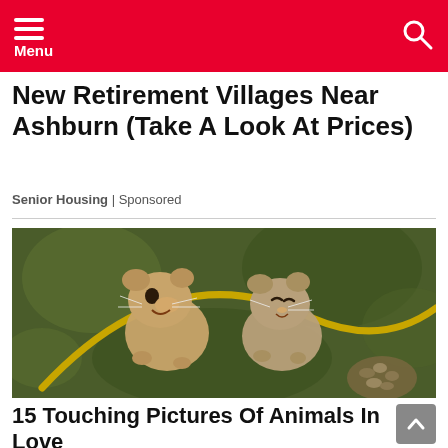Menu
New Retirement Villages Near Ashburn (Take A Look At Prices)
Senior Housing | Sponsored
[Figure (photo): Two small dormice or harvest mice clinging to a curved plant stem, appearing to smile, with a blurred green background and dried seed heads visible]
15 Touching Pictures Of Animals In Love